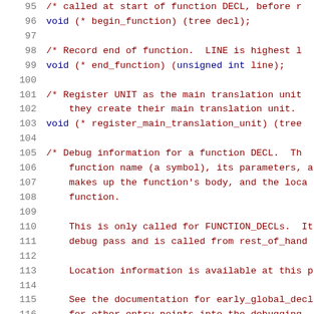[Figure (screenshot): Source code listing showing C header file definitions for debug hooks, lines 95-116. Contains comments and function pointer declarations for begin_function, end_function, register_main_translation_unit, and a debug information function for FUNCTION_DECLs.]